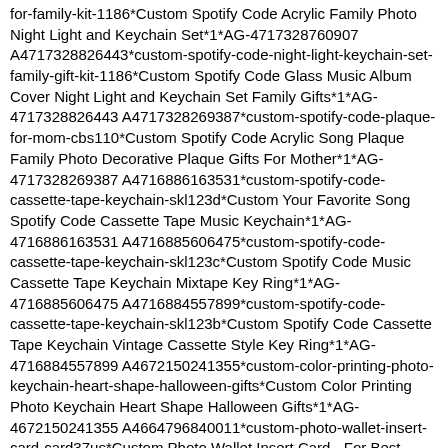for-family-kit-1186*Custom Spotify Code Acrylic Family Photo Night Light and Keychain Set*1*AG-4717328760907 A4717328826443*custom-spotify-code-night-light-keychain-set-family-gift-kit-1186*Custom Spotify Code Glass Music Album Cover Night Light and Keychain Set Family Gifts*1*AG-4717328826443 A4717328269387*custom-spotify-code-plaque-for-mom-cbs110*Custom Spotify Code Acrylic Song Plaque Family Photo Decorative Plaque Gifts For Mother*1*AG-4717328269387 A4716886163531*custom-spotify-code-cassette-tape-keychain-skl123d*Custom Your Favorite Song Spotify Code Cassette Tape Music Keychain*1*AG-4716886163531 A4716885606475*custom-spotify-code-cassette-tape-keychain-skl123c*Custom Spotify Code Music Cassette Tape Keychain Mixtape Key Ring*1*AG-4716885606475 A4716884557899*custom-spotify-code-cassette-tape-keychain-skl123b*Custom Spotify Code Cassette Tape Keychain Vintage Cassette Style Key Ring*1*AG-4716884557899 A4672150241355*custom-color-printing-photo-keychain-heart-shape-halloween-gifts*Custom Color Printing Photo Keychain Heart Shape Halloween Gifts*1*AG-4672150241355 A4664796840011*custom-photo-wallet-insert-card-card37us*Custom Photo Wallet Insert Card - For Best Dad*1*AG-4664796840011 A4594656313419*custom-diy-magic-folding-photo-rubiks-cube-...